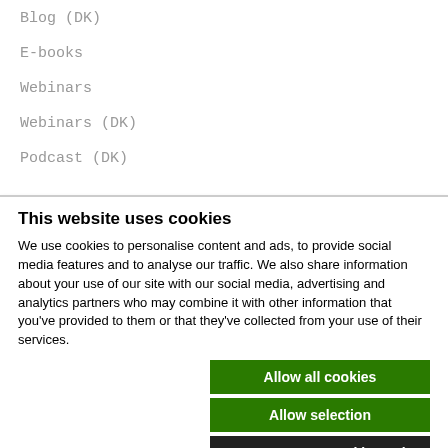Blog (DK)
E-books
Webinars
Webinars (DK)
Podcast (DK)
This website uses cookies
We use cookies to personalise content and ads, to provide social media features and to analyse our traffic. We also share information about your use of our site with our social media, advertising and analytics partners who may combine it with other information that you've provided to them or that they've collected from your use of their services.
Allow all cookies
Allow selection
Use necessary cookies only
Necessary  Preferences  Statistics  Marketing  Show details